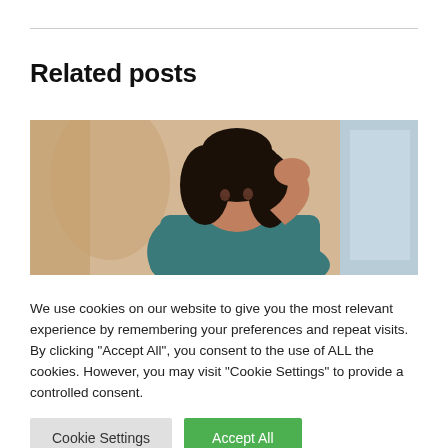Related posts
[Figure (photo): Woman with dark curly hair holding her head in her hands, appearing stressed or in pain, blurred indoor background]
We use cookies on our website to give you the most relevant experience by remembering your preferences and repeat visits. By clicking “Accept All”, you consent to the use of ALL the cookies. However, you may visit "Cookie Settings" to provide a controlled consent.
Cookie Settings | Accept All